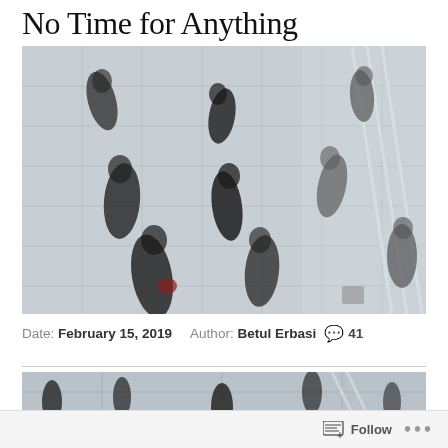No Time for Anything
[Figure (photo): Aerial/top-down view of blurred people walking on a tiled floor, motion blur effect, busy urban scene]
Date: February 15, 2019   Author: Betul Erbasi   💬 41
[Figure (photo): Partial view of people walking, cropped at bottom, similar to main photo above]
Follow   ...